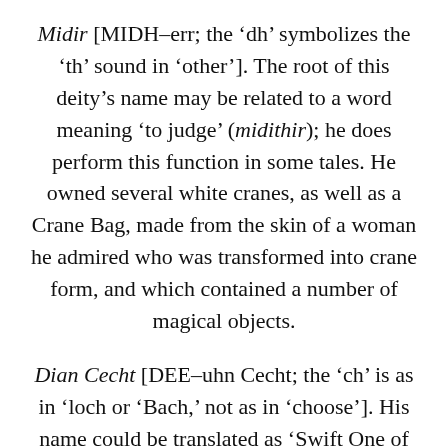Midir [MIDH-err; the 'dh' symbolizes the 'th' sound in 'other']. The root of this deity's name may be related to a word meaning 'to judge' (midithir); he does perform this function in some tales. He owned several white cranes, as well as a Crane Bag, made from the skin of a woman he admired who was transformed into crane form, and which contained a number of magical objects.
Dian Cecht [DEE-uhn Cecht; the 'ch' is as in 'loch or 'Bach,' not as in 'choose']. His name could be translated as 'Swift One of Power or Cutting,' and he is a Physician God. He helps heal wounded warriors of the Tuatha De Danann in